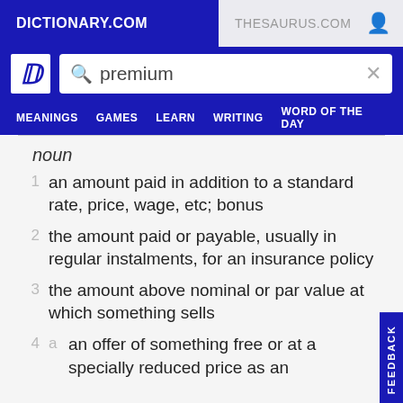DICTIONARY.COM | THESAURUS.COM
premium
MEANINGS  GAMES  LEARN  WRITING  WORD OF THE DAY
noun
1  an amount paid in addition to a standard rate, price, wage, etc; bonus
2  the amount paid or payable, usually in regular instalments, for an insurance policy
3  the amount above nominal or par value at which something sells
4  a  an offer of something free or at a specially reduced price as an